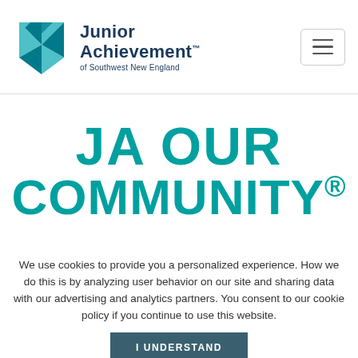[Figure (logo): Junior Achievement of Southwest New England logo with teal geometric pinwheel/diamond shape and navy text]
JA OUR COMMUNITY®
We use cookies to provide you a personalized experience. How we do this is by analyzing user behavior on our site and sharing data with our advertising and analytics partners. You consent to our cookie policy if you continue to use this website.
I UNDERSTAND